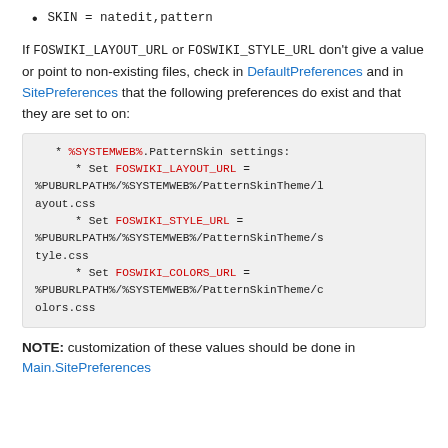SKIN = natedit,pattern
If FOSWIKI_LAYOUT_URL or FOSWIKI_STYLE_URL don't give a value or point to non-existing files, check in DefaultPreferences and in SitePreferences that the following preferences do exist and that they are set to on:
[Figure (screenshot): Code block showing FoswikiPatternSkin settings with FOSWIKI_LAYOUT_URL, FOSWIKI_STYLE_URL, and FOSWIKI_COLORS_URL set to %PUBURLPATH%/%SYSTEMWEB%/PatternSkinTheme paths]
NOTE: customization of these values should be done in Main.SitePreferences